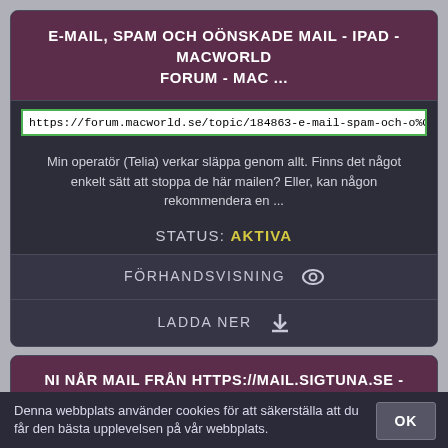E-MAIL, SPAM OCH OÖNSKADE MAIL - IPAD - MACWORLD FORUM - MAC ...
https://forum.macworld.se/topic/184863-e-mail-spam-och-o%C3%B6ns
Min operatör (Telia) verkar släppa genom allt. Finns det något enkelt sätt att stoppa de här mailen? Eller, kan någon rekommendera en ...
STATUS: AKTIVA
FÖRHANDSVISNING
LADDA NER
NI NÅR MAIL FRÅN HTTPS://MAIL.SIGTUNA.SE - ARLANDAGYMNASIET | FACEBOOK
https://
Denna webbplats använder cookies för att säkerställa att du får den bästa upplevelsen på vår webbplats.
OK